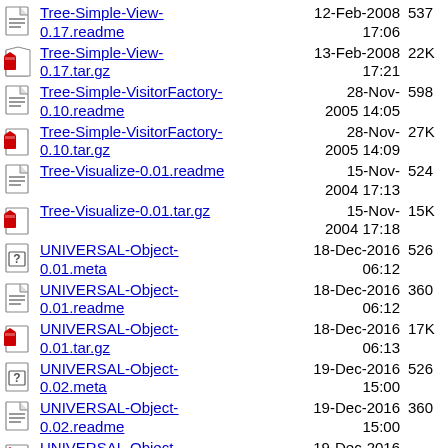Tree-Simple-View-0.17.readme  12-Feb-2008 17:06  537
Tree-Simple-View-0.17.tar.gz  13-Feb-2008 17:21  22K
Tree-Simple-VisitorFactory-0.10.readme  28-Nov-2005 14:05  598
Tree-Simple-VisitorFactory-0.10.tar.gz  28-Nov-2005 14:09  27K
Tree-Visualize-0.01.readme  15-Nov-2004 17:13  524
Tree-Visualize-0.01.tar.gz  15-Nov-2004 17:18  15K
UNIVERSAL-Object-0.01.meta  18-Dec-2016 06:12  526
UNIVERSAL-Object-0.01.readme  18-Dec-2016 06:12  360
UNIVERSAL-Object-0.01.tar.gz  18-Dec-2016 06:13  17K
UNIVERSAL-Object-0.02.meta  19-Dec-2016 15:00  526
UNIVERSAL-Object-0.02.readme  19-Dec-2016 15:00  360
UNIVERSAL-Object-  19-Dec-2016  (partial)